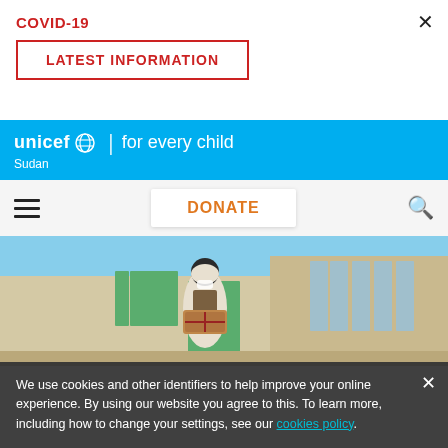COVID-19
LATEST INFORMATION
[Figure (logo): UNICEF 'for every child' logo banner in cyan/blue with Sudan subtitle]
DONATE
[Figure (photo): A person wearing a white robe, mask, and dark vest, carrying a box, standing in front of a building with green shuttered windows and door.]
We use cookies and other identifiers to help improve your online experience. By using our website you agree to this. To learn more, including how to change your settings, see our cookies policy.